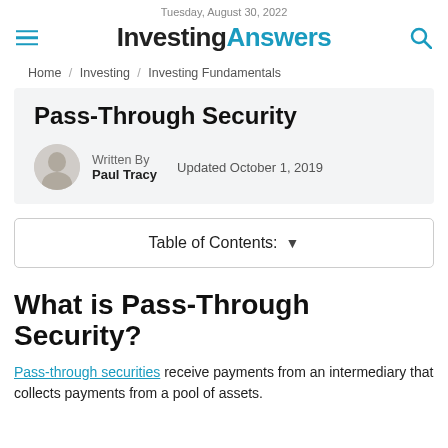Tuesday, August 30, 2022 | InvestingAnswers
Home / Investing / Investing Fundamentals
Pass-Through Security
Written By Paul Tracy | Updated October 1, 2019
Table of Contents: ▾
What is Pass-Through Security?
Pass-through securities receive payments from an intermediary that collects payments from a pool of assets.